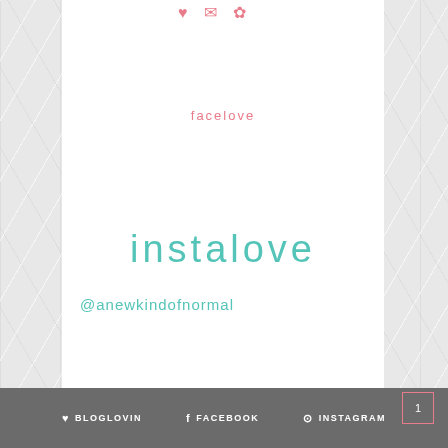[Figure (screenshot): Top partial icons in pink color at top of white card]
facelove
instalove
@anewkindofnormal
♥ BLOGLOVIN   f FACEBOOK   ⊙ INSTAGRAM
1